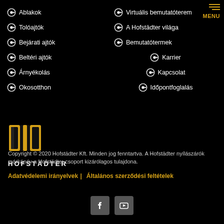Ablakok
Virtuális bemutatóterem
Tolóajtók
A Hofstädter világa
Bejárati ajtók
Bemutatótermek
Beltéri ajtók
Karrier
Árnyékolás
Kapcsolat
Okosotthon
Időpontfoglalás
[Figure (logo): Hofstädter logo - yellow geometric door/window icon with HOFSTÄDTER text below]
Copyright © 2020 Hofstädter Kft. Minden jog fenntartva. A Hofstädter nyílászárók márkánév a Hofstädter csoport kizárólagos tulajdona.
Adatvédelemi irányelvek |  Általános szerződési feltételek
[Figure (illustration): Facebook and YouTube social media icon buttons in grey square boxes]